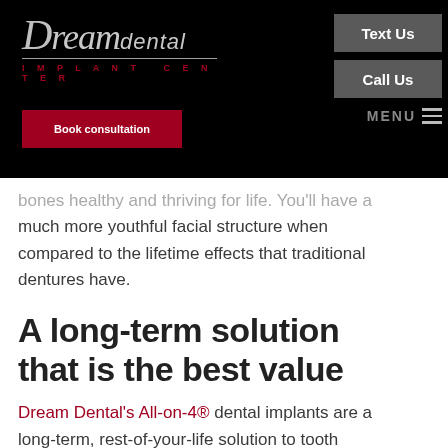[Figure (logo): Dream Dental Implant Center logo in silver/grey cursive and sans-serif text on black background]
[Figure (screenshot): Navigation buttons: Text Us and Call Us in dark grey, Book consultation in red, MENU with hamburger icon]
bones healthy and thriving for life. You'll have a much more youthful facial structure when compared to the lifetime effects that traditional dentures have.
A long-term solution that is the best value
Dream Dental's All-on-4® dental implants are a long-term, rest-of-your-life solution to tooth pain and decay, and it's a great value